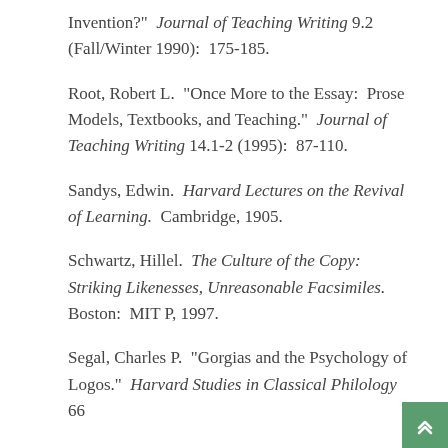Invention?" Journal of Teaching Writing 9.2 (Fall/Winter 1990): 175-185.
Root, Robert L. "Once More to the Essay: Prose Models, Textbooks, and Teaching." Journal of Teaching Writing 14.1-2 (1995): 87-110.
Sandys, Edwin. Harvard Lectures on the Revival of Learning. Cambridge, 1905.
Schwartz, Hillel. The Culture of the Copy: Striking Likenesses, Unreasonable Facsimiles. Boston: MIT P, 1997.
Segal, Charles P. "Gorgias and the Psychology of Logos." Harvard Studies in Classical Philology 66